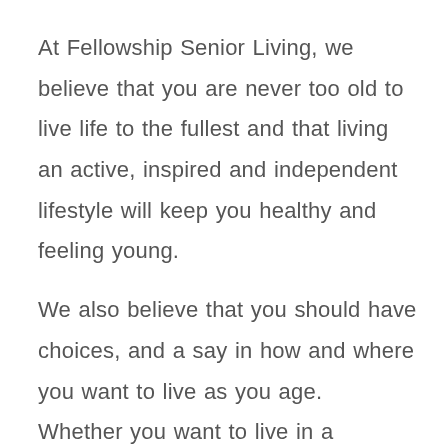At Fellowship Senior Living, we believe that you are never too old to live life to the fullest and that living an active, inspired and independent lifestyle will keep you healthy and feeling young.
We also believe that you should have choices, and a say in how and where you want to live as you age.  Whether you want to live in a community with amenities and services or remain in your home with support, Fellowship Senior Living has many